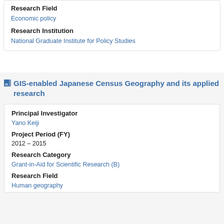Research Field
Economic policy
Research Institution
National Graduate Institute for Policy Studies
GIS-enabled Japanese Census Geography and its applied research
Principal Investigator
Yano Keiji
Project Period (FY)
2012 – 2015
Research Category
Grant-in-Aid for Scientific Research (B)
Research Field
Human geography